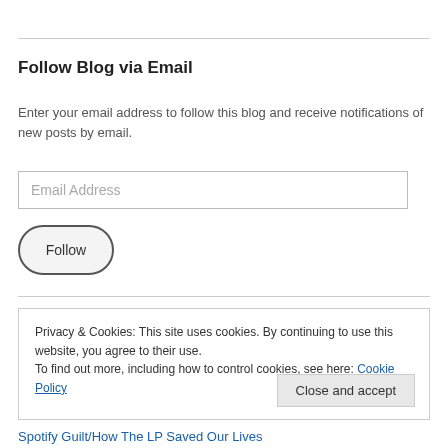Follow Blog via Email
Enter your email address to follow this blog and receive notifications of new posts by email.
[Figure (other): Email Address input field placeholder]
[Figure (other): Follow button with rounded border]
Privacy & Cookies: This site uses cookies. By continuing to use this website, you agree to their use. To find out more, including how to control cookies, see here: Cookie Policy
Close and accept
Spotify Guilt/How The LP Saved Our Lives